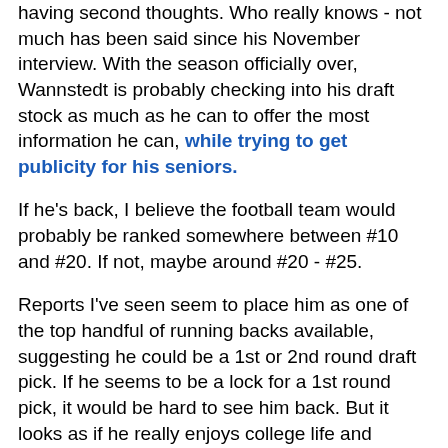having second thoughts. Who really knows - not much has been said since his November interview. With the season officially over, Wannstedt is probably checking into his draft stock as much as he can to offer the most information he can, while trying to get publicity for his seniors.
If he's back, I believe the football team would probably be ranked somewhere between #10 and #20. If not, maybe around #20 - #25.
Reports I've seen seem to place him as one of the top handful of running backs available, suggesting he could be a 1st or 2nd round draft pick. If he seems to be a lock for a 1st round pick, it would be hard to see him back. But it looks as if he really enjoys college life and Pittsburgh in general. Plus, I think he would love to get Pitt to a BCS bowl and really cement his legacy here. If he's back, Pitt will in all likelihood do what it can to promote him early on